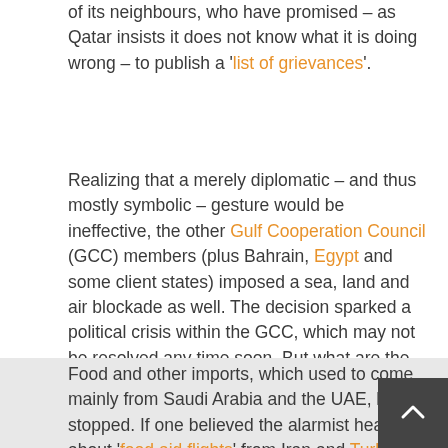of its neighbours, who have promised – as Qatar insists it does not know what it is doing wrong – to publish a 'list of grievances'.
Realizing that a merely diplomatic – and thus mostly symbolic – gesture would be ineffective, the other Gulf Cooperation Council (GCC) members (plus Bahrain, Egypt and some client states) imposed a sea, land and air blockade as well. The decision sparked a political crisis within the GCC, which may not be resolved any time soon. But what are the implications for Qatar's economy?
Food and other imports, which used to come mainly from Saudi Arabia and the UAE, have stopped. If one believed the alarmist headlines about 'food aid flights' from Iran and Turkey into 'isolated' Qatar, one could easily think that the country was on the brink